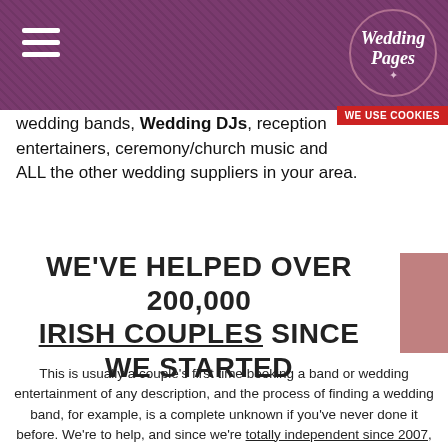Wedding Pages
wedding bands, Wedding DJs, reception entertainers, ceremony/church music and ALL the other wedding suppliers in your area.
WE'VE HELPED OVER 200,000 IRISH COUPLES SINCE WE STARTED
This is usually a couple's first time booking a band or wedding entertainment of any description, and the process of finding a wedding band, for example, is a complete unknown if you've never done it before. We're to help, and since we're totally independent since 2007, and not run by an individual or group related to a particular wedding supplier or business, you can be sure that you're getting the best rates available, all of the options around you, and the direct line to those bands or wedding suppliers that spark your interest.